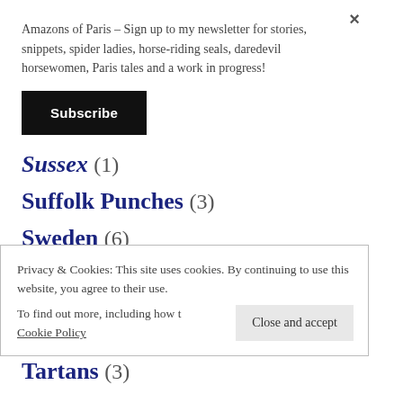Amazons of Paris – Sign up to my newsletter for stories, snippets, spider ladies, horse-riding seals, daredevil horsewomen, Paris tales and a work in progress!
Subscribe
Sussex (1)
Suffolk Punches (3)
Sweden (6)
Switzerland (2)
Privacy & Cookies: This site uses cookies. By continuing to use this website, you agree to their use. To find out more, including how to control cookies, see here: Cookie Policy
Close and accept
Tartans (3)